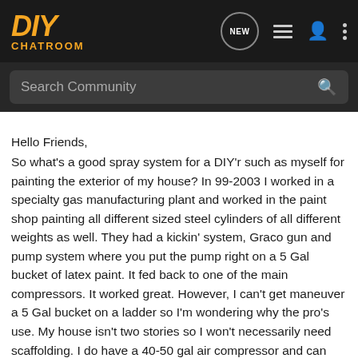DIY CHATROOM
Search Community
Hello Friends,
So what's a good spray system for a DIY'r such as myself for painting the exterior of my house? In 99-2003 I worked in a specialty gas manufacturing plant and worked in the paint shop painting all different sized steel cylinders of all different weights as well. They had a kickin' system, Graco gun and pump system where you put the pump right on a 5 Gal bucket of latex paint. It fed back to one of the main compressors. It worked great. However, I can't get maneuver a 5 Gal bucket on a ladder so I'm wondering why the pro's use. My house isn't two stories so I won't necessarily need scaffolding. I do have a 40-50 gal air compressor and can use that. I'm open to suggestions. I will be using most likely a latex stain or paint.
Suggestions on a decent, quality portable spray system?
Thanks,
~S